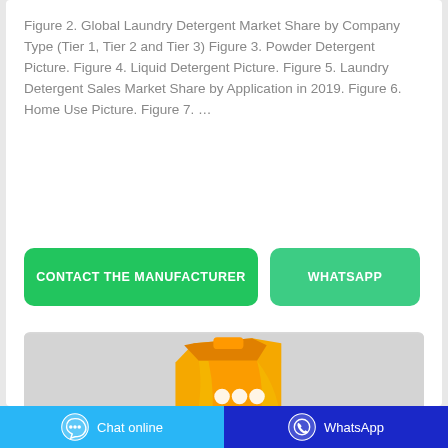Figure 2. Global Laundry Detergent Market Share by Company Type (Tier 1, Tier 2 and Tier 3) Figure 3. Powder Detergent Picture. Figure 4. Liquid Detergent Picture. Figure 5. Laundry Detergent Sales Market Share by Application in 2019. Figure 6. Home Use Picture. Figure 7. …
[Figure (screenshot): Two call-to-action buttons: a green 'CONTACT THE MANUFACTURER' button and a lighter green 'WHATSAPP' button]
[Figure (photo): Partial image of a yellow/orange laundry detergent bottle on a grey background]
Chat online   WhatsApp